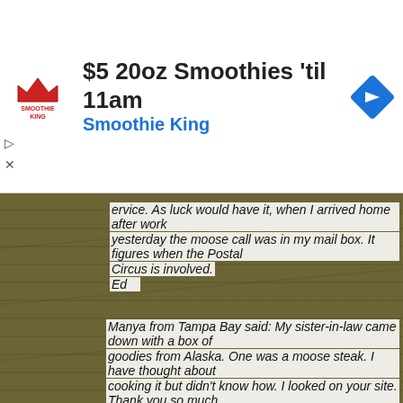[Figure (screenshot): Smoothie King advertisement banner with logo, text '$5 20oz Smoothies til 11am' and 'Smoothie King', and a blue navigation diamond icon.]
service. As luck would have it, when I arrived home after work yesterday the moose call was in my mail box. It figures when the Postal Circus is involved.
Ed
Manya from Tampa Bay said: My sister-in-law came down with a box of goodies from Alaska. One was a moose steak. I have thought about cooking it but didn't know how. I looked on your site. Thank you so much for having such wonderful ways to fix moose.
Laurie wrote to us:
"I just wanted to let you know how much I love your site and how much I appreciate all the help you give everyone. I have learned so much from this site. It is my go to guide for moose hunting. You have a great way with words and make this site very approachable for new hunters and